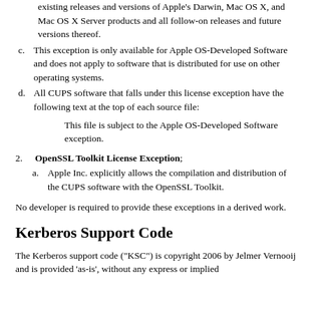existing releases and versions of Apple's Darwin, Mac OS X, and Mac OS X Server products and all follow-on releases and future versions thereof.
c. This exception is only available for Apple OS-Developed Software and does not apply to software that is distributed for use on other operating systems.
d. All CUPS software that falls under this license exception have the following text at the top of each source file:
This file is subject to the Apple OS-Developed Software exception.
2. OpenSSL Toolkit License Exception;
a. Apple Inc. explicitly allows the compilation and distribution of the CUPS software with the OpenSSL Toolkit.
No developer is required to provide these exceptions in a derived work.
Kerberos Support Code
The Kerberos support code ("KSC") is copyright 2006 by Jelmer Vernooij and is provided 'as-is', without any express or implied